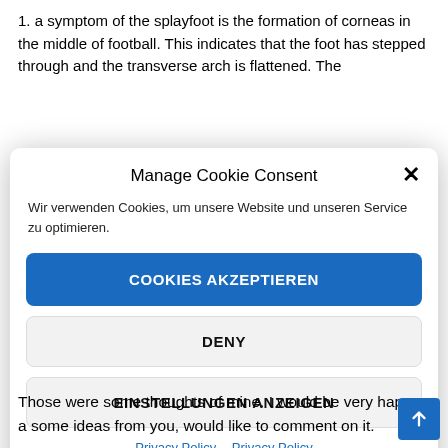a symptom of the splayfoot is the formation of corneas in the middle of football. This indicates that the foot has stepped through and the transverse arch is flattened. The
Manage Cookie Consent
Wir verwenden Cookies, um unsere Website und unseren Service zu optimieren.
COOKIES AKZEPTIEREN
DENY
EINSTELLUNGEN ANZEIGEN
Privacy Policy  Privacy Policy
Those were some thoughts of mine. I would be very happy a some ideas from you, would like to comment on it.